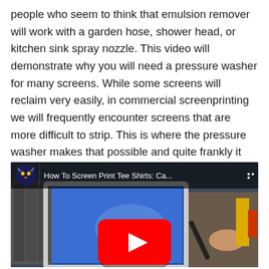people who seem to think that emulsion remover will work with a garden hose, shower head, or kitchen sink spray nozzle. This video will demonstrate why you will need a pressure washer for many screens. While some screens will reclaim very easily, in commercial screenprinting we will frequently encounter screens that are more difficult to strip. This is where the pressure washer makes that possible and quite frankly it makes your work much easier. Check out this video and watch as I demonstrate different attempts to reclaim screens with just a garden hose.
[Figure (screenshot): Embedded YouTube video thumbnail showing a screen printing reclaim demonstration. Title reads 'How To Screen Print Tee Shirts: Ca...' with a YouTube play button overlay.]